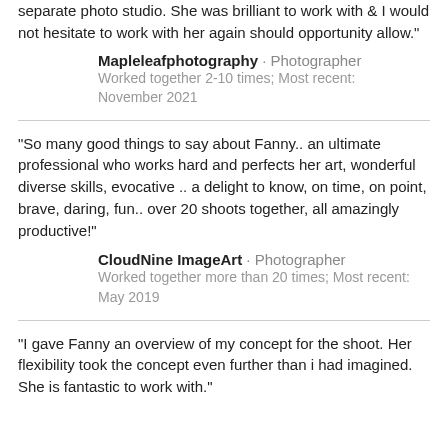separate photo studio. She was brilliant to work with & I would not hesitate to work with her again should opportunity allow."
Mapleleafphotography · Photographer
Worked together 2-10 times; Most recent: November 2021
"So many good things to say about Fanny.. an ultimate professional who works hard and perfects her art, wonderful diverse skills, evocative .. a delight to know, on time, on point, brave, daring, fun.. over 20 shoots together, all amazingly productive!"
CloudNine ImageArt · Photographer
Worked together more than 20 times; Most recent: May 2019
"I gave Fanny an overview of my concept for the shoot. Her flexibility took the concept even further than i had imagined. She is fantastic to work with."